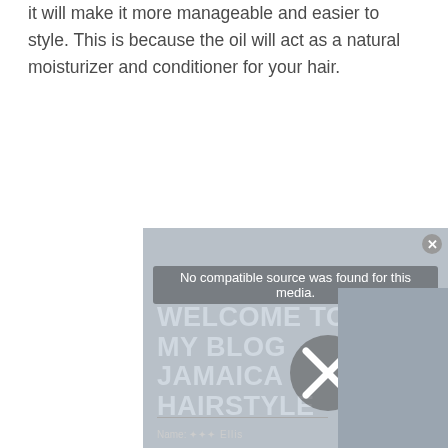The idea behind using baby oil on your weave is that it will make it more manageable and easier to style. This is because the oil will act as a natural moisturizer and conditioner for your hair.
[Figure (screenshot): A video player overlay showing 'No compatible source was found for this media.' with a blog advertisement for 'WELCOME TO MY BLOG JAMAICA HAIRSTYLE' with a close (X) button and a photo of a person in the background.]